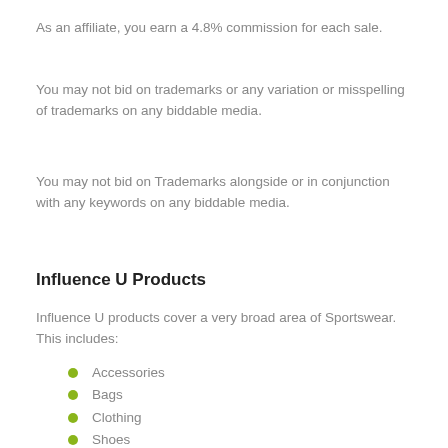As an affiliate, you earn a 4.8% commission for each sale.
You may not bid on trademarks or any variation or misspelling of trademarks on any biddable media.
You may not bid on Trademarks alongside or in conjunction with any keywords on any biddable media.
Influence U Products
Influence U products cover a very broad area of Sportswear. This includes:
Accessories
Bags
Clothing
Shoes